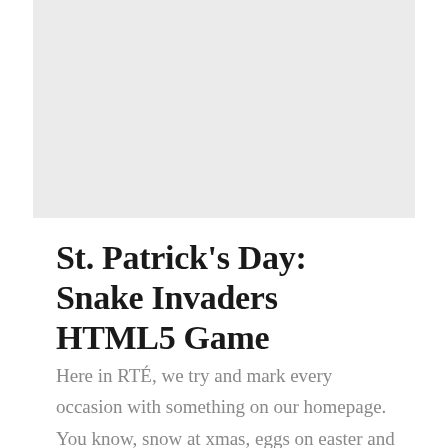[Figure (other): Light gray rectangular placeholder image area]
St. Patrick's Day: Snake Invaders HTML5 Game
Here in RTÉ, we try and mark every occasion with something on our homepage. You know, snow at xmas, eggs on easter and we usually go green on St